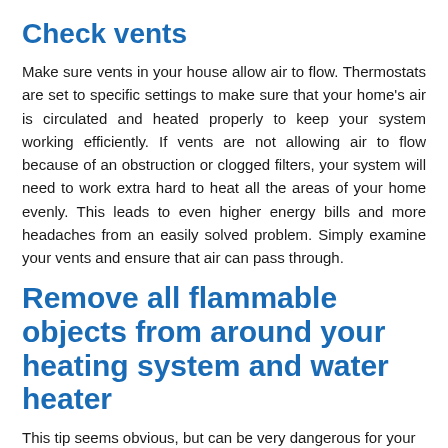Check vents
Make sure vents in your house allow air to flow. Thermostats are set to specific settings to make sure that your home’s air is circulated and heated properly to keep your system working efficiently. If vents are not allowing air to flow because of an obstruction or clogged filters, your system will need to work extra hard to heat all the areas of your home evenly. This leads to even higher energy bills and more headaches from an easily solved problem. Simply examine your vents and ensure that air can pass through.
Remove all flammable objects from around your heating system and water heater
This tip seems obvious, but can be very dangerous for your